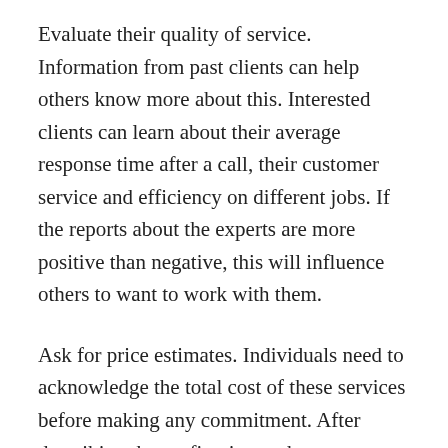Evaluate their quality of service. Information from past clients can help others know more about this. Interested clients can learn about their average response time after a call, their customer service and efficiency on different jobs. If the reports about the experts are more positive than negative, this will influence others to want to work with them.
Ask for price estimates. Individuals need to acknowledge the total cost of these services before making any commitment. After describing the roofing issue, the experts will give them free quotes. These may go higher or lower depending on the work that the contractors do. These details enable persons to settle for what they can afford.
Take advantage of guarantees offered. Most contractors provide clients with a satisfaction guarantee. If individuals are not impressed by the work they do, they can request